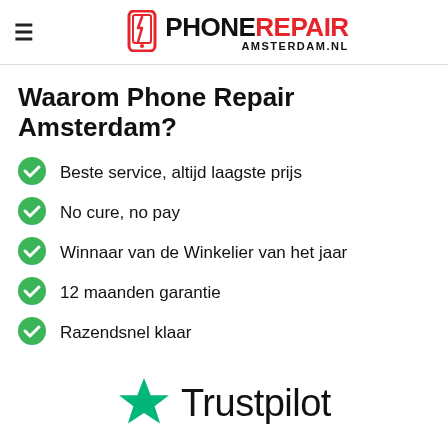Phone Repair Amsterdam - logo and navigation header
Waarom Phone Repair Amsterdam?
Beste service, altijd laagste prijs
No cure, no pay
Winnaar van de Winkelier van het jaar
12 maanden garantie
Razendsnel klaar
[Figure (logo): Trustpilot logo with green star and Trustpilot text]